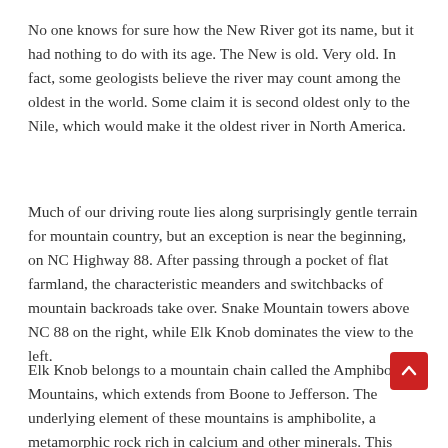No one knows for sure how the New River got its name, but it had nothing to do with its age. The New is old. Very old. In fact, some geologists believe the river may count among the oldest in the world. Some claim it is second oldest only to the Nile, which would make it the oldest river in North America.
Much of our driving route lies along surprisingly gentle terrain for mountain country, but an exception is near the beginning, on NC Highway 88. After passing through a pocket of flat farmland, the characteristic meanders and switchbacks of mountain backroads take over. Snake Mountain towers above NC 88 on the right, while Elk Knob dominates the view to the left.
Elk Knob belongs to a mountain chain called the Amphibolite Mountains, which extends from Boone to Jefferson. The underlying element of these mountains is amphibolite, a metamorphic rock rich in calcium and other minerals. This bedrock contributes to the region's